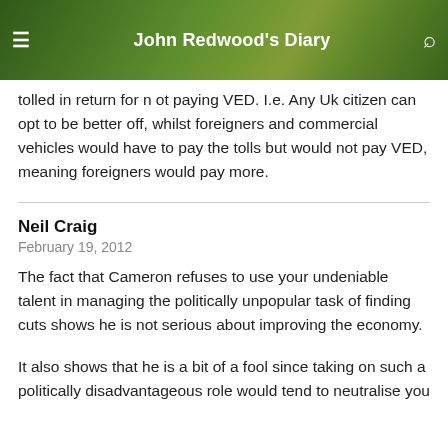John Redwood's Diary
tolled in return for n ot paying VED. I.e. Any Uk citizen can opt to be better off, whilst foreigners and commercial vehicles would have to pay the tolls but would not pay VED, meaning foreigners would pay more.
Neil Craig
February 19, 2012
The fact that Cameron refuses to use your undeniable talent in managing the politically unpopular task of finding cuts shows he is not serious about improving the economy.
It also shows that he is a bit of a fool since taking on such a politically disadvantageous role would tend to neutralise you